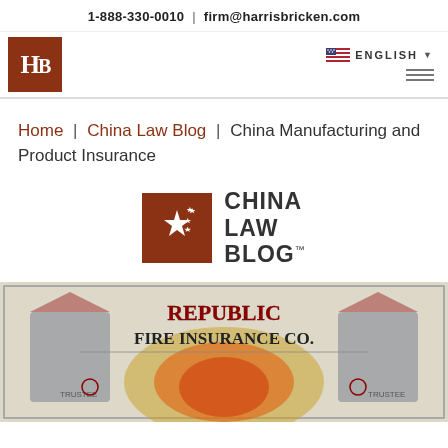1-888-330-0010  |  firm@harrisbricken.com
[Figure (logo): Harris Bricken HB logo — brown square with white HB letters]
[Figure (logo): Language selector showing US flag and ENGLISH with dropdown arrow, plus hamburger menu icon]
Home | China Law Blog | China Manufacturing and Product Insurance
[Figure (logo): China Law Blog logo — brown square with star and smaller stars, next to bold text CHINA LAW BLOG with TM mark]
[Figure (photo): Historical vintage illustration of Republic Fire Insurance Co. with patriotic imagery, flags, figures, and a fire scene in center]